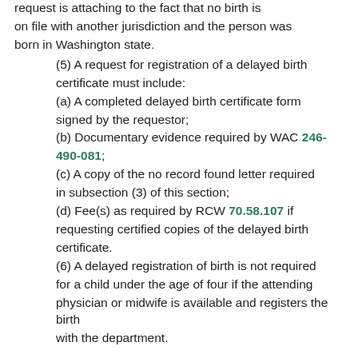request is attaching to the fact that no birth is on file with another jurisdiction and the person was born in Washington state.
(5) A request for registration of a delayed birth certificate must include:
(a) A completed delayed birth certificate form signed by the requestor;
(b) Documentary evidence required by WAC 246-490-081;
(c) A copy of the no record found letter required in subsection (3) of this section;
(d) Fee(s) as required by RCW 70.58.107 if requesting certified copies of the delayed birth certificate.
(6) A delayed registration of birth is not required for a child under the age of four if the attending physician or midwife is available and registers the birth with the department.
[Statutory Authority: RCW 43.70.150, 70.58.082. WSR 15-19-058, § 246-490-080, filed 9/11/15, effective 11/1/15.]